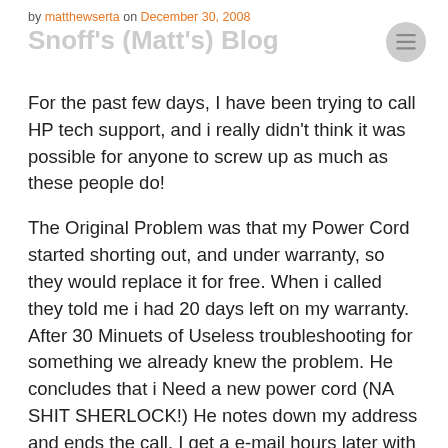by matthewserta on December 30, 2008
Snoff's (Matt's) Blog
For the past few days, I have been trying to call HP tech support, and i really didn't think it was possible for anyone to screw up as much as these people do!
The Original Problem was that my Power Cord started shorting out, and under warranty, so they would replace it for free. When i called they told me i had 20 days left on my warranty. After 30 Minuets of Useless troubleshooting for something we already knew the problem. He concludes that i Need a new power cord (NA SHIT SHERLOCK!) He notes down my address and ends the call. I get a e-mail hours later with the address 7240 Arber Haven Dr. I was having the cord shipped to 40 Bear Haven Dr. So i assumed it was a Simple Mistake. I call back and tell a NEW non speaking English person my address, and he